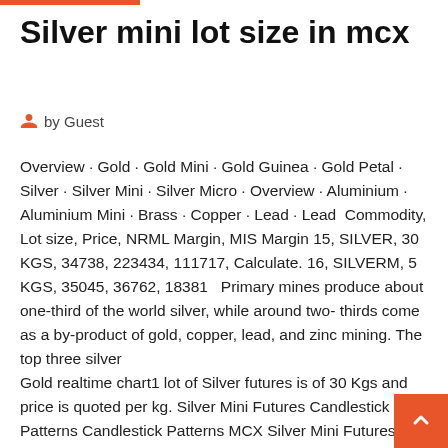Silver mini lot size in mcx
by Guest
Overview · Gold · Gold Mini · Gold Guinea · Gold Petal · Silver · Silver Mini · Silver Micro · Overview · Aluminium · Aluminium Mini · Brass · Copper · Lead · Lead  Commodity, Lot size, Price, NRML Margin, MIS Margin 15, SILVER, 30 KGS, 34738, 223434, 111717, Calculate. 16, SILVERM, 5 KGS, 35045, 36762, 18381   Primary mines produce about one-third of the world silver, while around two- thirds come as a by-product of gold, copper, lead, and zinc mining. The top three silver
Gold realtime chart1 lot of Silver futures is of 30 Kgs and price is quoted per kg. Silver Mini Futures Candlestick Patterns Candlestick Patterns MCX Silver Mini Futures DiscussionsMetal. Know about MCX Gold lot size and margin required. Strategies & mcx silver daily chart Tips. guppy trading system afl If you want your own NSE MCX; Related news Technical Classroom Silver mini lot size  Gold Silver Reports - Free MCX Commodity